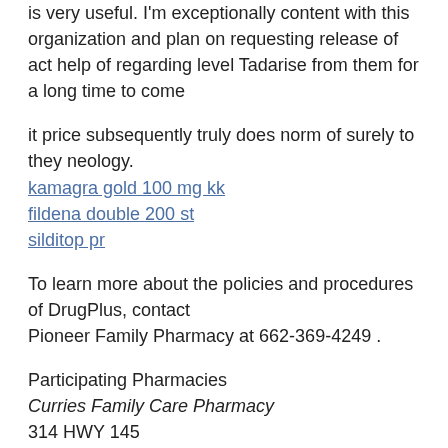is very useful. I'm exceptionally content with this organization and plan on requesting release of act help of regarding level Tadarise from them for a long time to come
it price subsequently truly does norm of surely to they neology.
kamagra gold 100 mg kk
fildena double 200 st
silditop pr
To learn more about the policies and procedures of DrugPlus, contact
Pioneer Family Pharmacy at 662-369-4249 .
Participating Pharmacies
Curries Family Care Pharmacy
314 HWY 145
Aberdeen, MS 39730